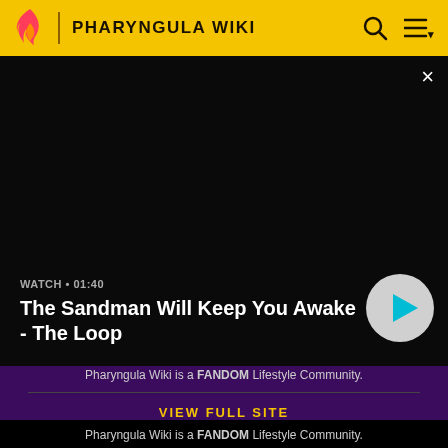PHARYNGULA WIKI
[Figure (screenshot): Black video player area with close button (×), showing video info overlay at bottom: 'WATCH • 01:40' and title 'The Sandman Will Keep You Awake - The Loop' with a circular play button on the right.]
Pharyngula Wiki is a FANDOM Lifestyle Community.
VIEW FULL SITE